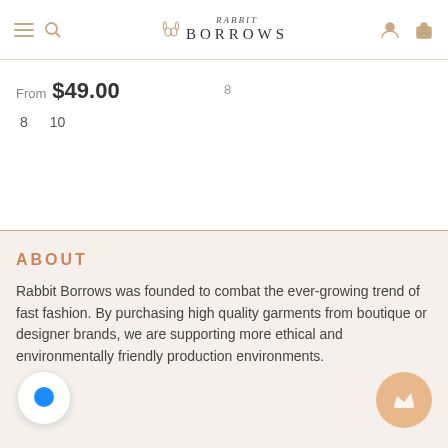Rabbit Borrows — navigation header with logo, menu, search, account, and cart icons
From $49.00
8
8  10
ABOUT
Rabbit Borrows was founded to combat the ever-growing trend of fast fashion. By purchasing high quality garments from boutique or designer brands, we are supporting more ethical and environmentally friendly production environments.